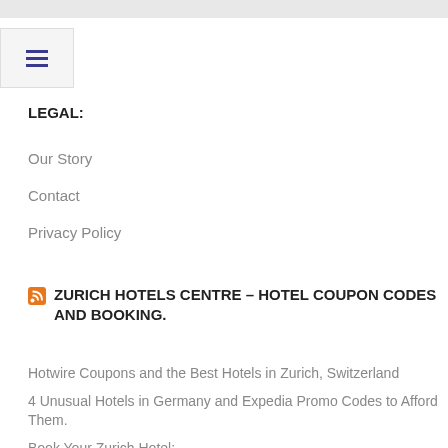[Figure (other): Top gray navigation bar]
[Figure (other): Hamburger menu button with three horizontal lines icon in dark blue/indigo color]
LEGAL:
Our Story
Contact
Privacy Policy
ZURICH HOTELS CENTRE – HOTEL COUPON CODES AND BOOKING.
Hotwire Coupons and the Best Hotels in Zurich, Switzerland
4 Unusual Hotels in Germany and Expedia Promo Codes to Afford Them.
Book Your Zurich Hotel: